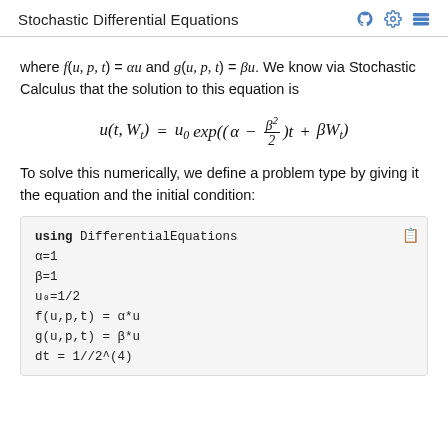Stochastic Differential Equations
where f(u, p, t) = αu and g(u, p, t) = βu. We know via Stochastic Calculus that the solution to this equation is
To solve this numerically, we define a problem type by giving it the equation and the initial condition:
using DifferentialEquations
α=1
β=1
u₀=1/2
f(u,p,t) = α*u
g(u,p,t) = β*u
dt = 1//2^(4)